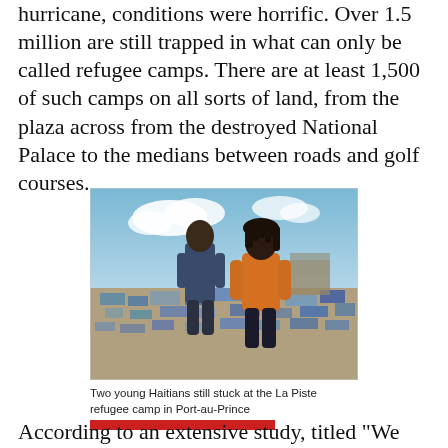hurricane, conditions were horrific. Over 1.5 million are still trapped in what can only be called refugee camps. There are at least 1,500 of such camps on all sorts of land, from the plaza across from the destroyed National Palace to the medians between roads and golf courses.
[Figure (photo): Two young Haitian children standing in front of a sprawling refugee camp with tents and tarps under a blue sky with clouds.]
Two young Haitians still stuck at the La Piste refugee camp in Port-au-Prince
According to an extensive study, titled "We Have Been